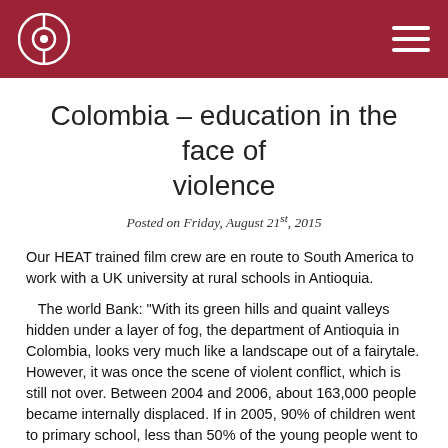Colombia – education in the face of violence
Colombia – education in the face of violence
Posted on Friday, August 21st, 2015
Our HEAT trained film crew are en route to South America to work with a UK university at rural schools in Antioquia.
The world Bank: “With its green hills and quaint valleys hidden under a layer of fog, the department of Antioquia in Colombia, looks very much like a landscape out of a fairytale. However, it was once the scene of violent conflict, which is still not over. Between 2004 and 2006, about 163,000 people became internally displaced. If in 2005, 90% of children went to primary school, less than 50% of the young people went to secondary school in 2007.
But the department represents also 13% of the country’s GDP,